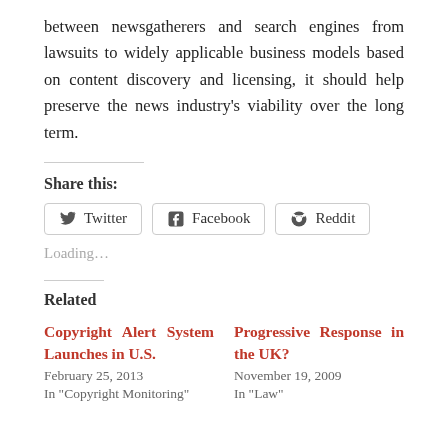between newsgatherers and search engines from lawsuits to widely applicable business models based on content discovery and licensing, it should help preserve the news industry's viability over the long term.
Share this:
Twitter  Facebook  Reddit
Loading...
Related
Copyright Alert System Launches in U.S.
February 25, 2013
In "Copyright Monitoring"
Progressive Response in the UK?
November 19, 2009
In "Law"